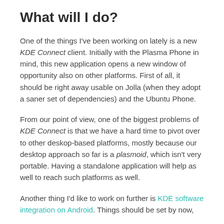What will I do?
One of the things I've been working on lately is a new KDE Connect client. Initially with the Plasma Phone in mind, this new application opens a new window of opportunity also on other platforms. First of all, it should be right away usable on Jolla (when they adopt a saner set of dependencies) and the Ubuntu Phone.
From our point of view, one of the biggest problems of KDE Connect is that we have a hard time to pivot over to other deskop-based platforms, mostly because our desktop approach so far is a plasmoid, which isn't very portable. Having a standalone application will help as well to reach such platforms as well.
Another thing I'd like to work on further is KDE software integration on Android. Things should be set by now,